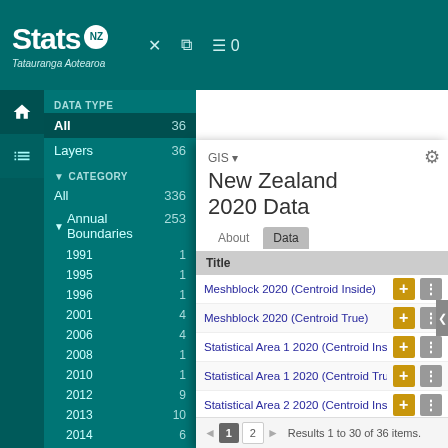[Figure (screenshot): Stats NZ Tatauranga Aotearoa website header with teal background, logo with NZ badge, and toolbar icons]
Stats NZ Tatauranga Aotearoa
DATA TYPE
All  36
Layers  36
CATEGORY
All  336
Annual Boundaries  253
1991  1
1995  1
1996  1
2001  4
2006  4
2008  1
2010  1
2012  9
2013  10
2014  6
2015  14
2016  10
2017  11
GIS ▾ New Zealand 2020 Data
| Title |
| --- |
| Meshblock 2020 (Centroid Inside) |
| Meshblock 2020 (Centroid True) |
| Statistical Area 1 2020 (Centroid Insid… |
| Statistical Area 1 2020 (Centroid True… |
| Statistical Area 2 2020 (Centroid Insid… |
| Statistical Area 2 2020 (Centroid True… |
| Meshblock 2020 (generalised) |
| Meshblock 2020 Clipped (generalised… |
| Meshblock Higher Geographies 2020… |
| Meshblock Higher Geographies 2020… |
| Statistical Area 1 Higher Geographies… |
Results 1 to 30 of 36 items.